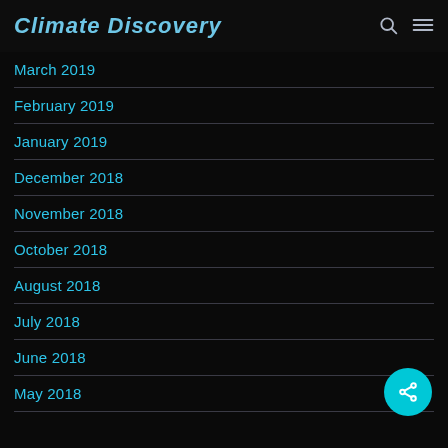Climate Discovery
March 2019
February 2019
January 2019
December 2018
November 2018
October 2018
August 2018
July 2018
June 2018
May 2018